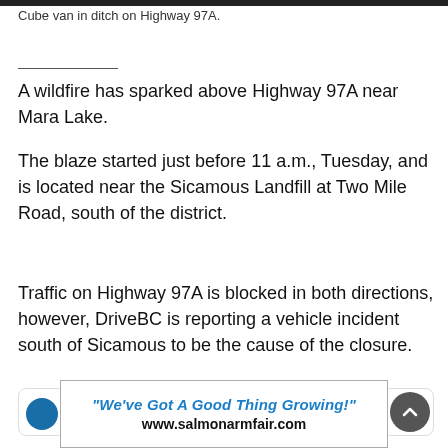Cube van in ditch on Highway 97A.
A wildfire has sparked above Highway 97A near Mara Lake.
The blaze started just before 11 a.m., Tuesday, and is located near the Sicamous Landfill at Two Mile Road, south of the district.
Traffic on Highway 97A is blocked in both directions, however, DriveBC is reporting a vehicle incident south of Sicamous to be the cause of the closure.
[Figure (other): Advertisement banner: "We've Got A Good Thing Growing!" www.salmonarmfair.com]